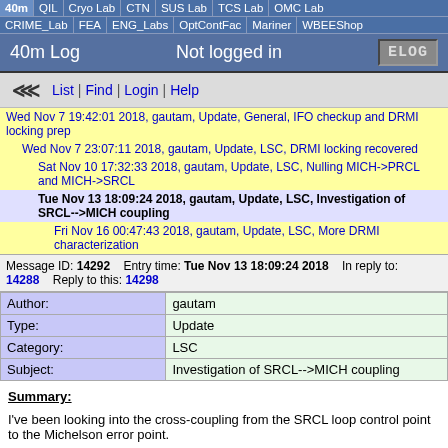40m | QIL | Cryo Lab | CTN | SUS Lab | TCS Lab | OMC Lab | CRIME_Lab | FEA | ENG_Labs | OptContFac | Mariner | WBEEShop
40m Log   Not logged in   ELOG
List | Find | Login | Help
Wed Nov 7 19:42:01 2018, gautam, Update, General, IFO checkup and DRMI locking prep
Wed Nov 7 23:07:11 2018, gautam, Update, LSC, DRMI locking recovered
Sat Nov 10 17:32:33 2018, gautam, Update, LSC, Nulling MICH->PRCL and MICH->SRCL
Tue Nov 13 18:09:24 2018, gautam, Update, LSC, Investigation of SRCL-->MICH coupling
Fri Nov 16 00:47:43 2018, gautam, Update, LSC, More DRMI characterization
Message ID: 14292   Entry time: Tue Nov 13 18:09:24 2018   In reply to: 14288   Reply to this: 14298
| Field | Value |
| --- | --- |
| Author: | gautam |
| Type: | Update |
| Category: | LSC |
| Subject: | Investigation of SRCL-->MICH coupling |
Summary:
I've been looking into the cross-coupling from the SRCL loop control point to the Michelson error point.
[Attachment #1] - Swept sine measurement of transfer function from